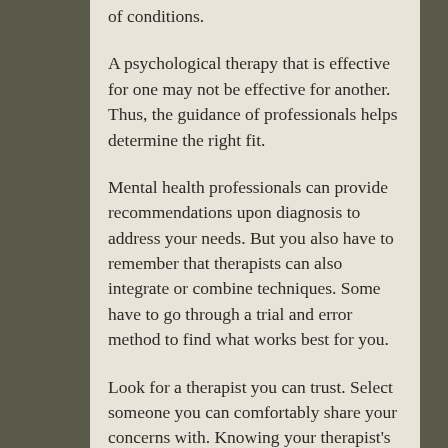of conditions.
A psychological therapy that is effective for one may not be effective for another. Thus, the guidance of professionals helps determine the right fit.
Mental health professionals can provide recommendations upon diagnosis to address your needs. But you also have to remember that therapists can also integrate or combine techniques. Some have to go through a trial and error method to find what works best for you.
Look for a therapist you can trust. Select someone you can comfortably share your concerns with. Knowing your therapist's field of study and experience can help determine if